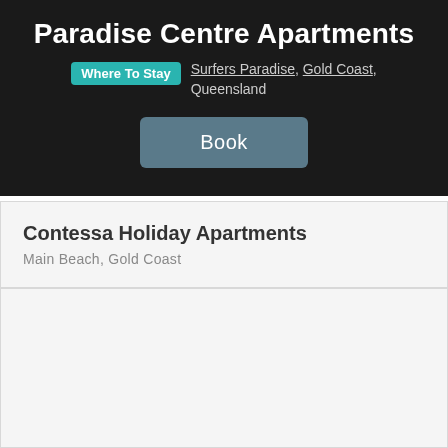Paradise Centre Apartments
Where To Stay  Surfers Paradise, Gold Coast, Queensland
Book
Contessa Holiday Apartments
Main Beach, Gold Coast